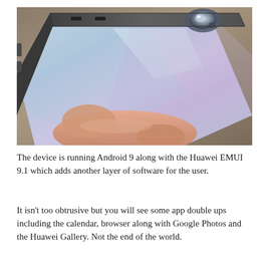[Figure (photo): A hand holding a smartphone (light blue/silver) viewed from the top/side angle, showing the top edge with cameras and sensors, against a wooden surface background.]
The device is running Android 9 along with the Huawei EMUI 9.1 which adds another layer of software for the user.
It isn’t too obtrusive but you will see some app double ups including the calendar, browser along with Google Photos and the Huawei Gallery. Not the end of the world.